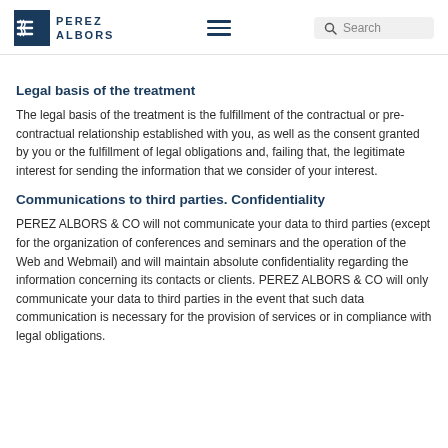PEREZ ALBORS
Legal basis of the treatment
The legal basis of the treatment is the fulfillment of the contractual or pre-contractual relationship established with you, as well as the consent granted by you or the fulfillment of legal obligations and, failing that, the legitimate interest for sending the information that we consider of your interest.
Communications to third parties. Confidentiality
PEREZ ALBORS & CO will not communicate your data to third parties (except for the organization of conferences and seminars and the operation of the Web and Webmail) and will maintain absolute confidentiality regarding the information concerning its contacts or clients. PEREZ ALBORS & CO will only communicate your data to third parties in the event that such data communication is necessary for the provision of services or in compliance with legal obligations.